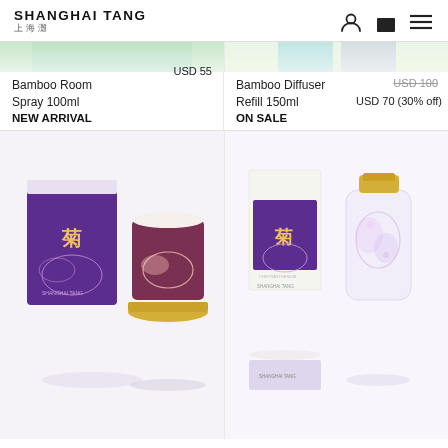Shanghai Tang
[Figure (photo): Partial view of two product images at the top of the page - left shows Bamboo Room Spray 100ml packaging in green/white, right shows Bamboo Diffuser Refill 150ml packaging]
Bamboo Room Spray 100ml NEW ARRIVAL USD 55
Bamboo Diffuser Refill 150ml ON SALE USD 100 (strikethrough) USD 70 (30% off)
[Figure (photo): Shanghai Tang Chrysanthemum scented candle with purple box packaging showing Chinese character 菊 and floral design, and a dark maroon ceramic candle holder with gold lid]
[Figure (photo): Shanghai Tang Chrysanthemum perfume with purple box packaging showing Chinese character 菊 and a glass perfume bottle with gold cap and floral pattern]